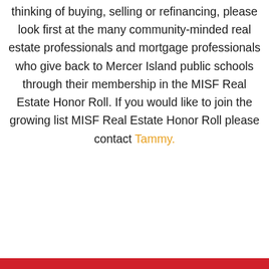thinking of buying, selling or refinancing, please look first at the many community-minded real estate professionals and mortgage professionals who give back to Mercer Island public schools through their membership in the MISF Real Estate Honor Roll. If you would like to join the growing list MISF Real Estate Honor Roll please contact Tammy.